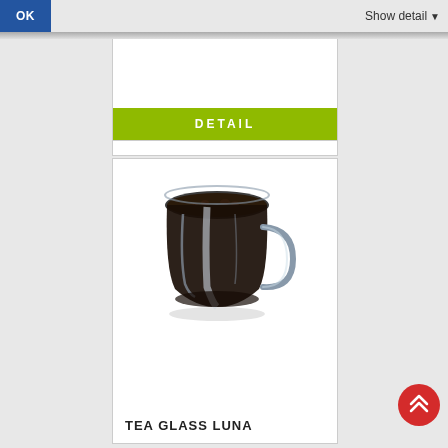OK   Show detail
DETAIL
[Figure (photo): A glass tea cup filled with dark liquid (coffee or tea), viewed from slightly above, showing a clear glass mug with a handle on the right side.]
TEA GLASS LUNA